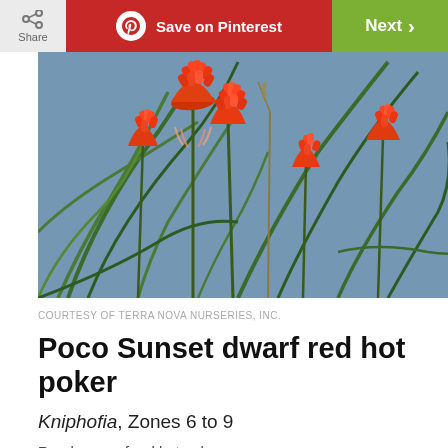Share | Save on Pinterest | Next
[Figure (photo): Bright red-orange torch lily (Kniphofia) flowers with green grass-like foliage against a grey background]
COURTESY OF TERRA NOVA NURSERIES, INC.
Poco Sunset dwarf red hot poker
Kniphofia, Zones 6 to 9
Read more of red hot poker...